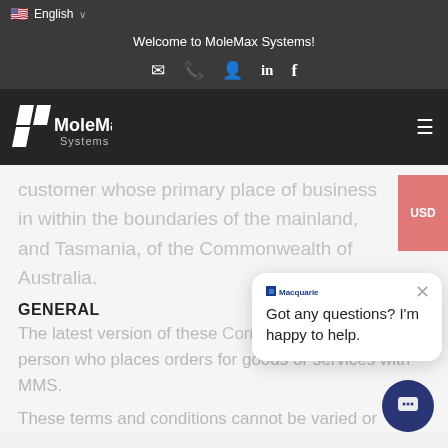English
Welcome to MoleMax Systems!
[Figure (logo): MoleMax Systems logo in white on dark background]
customer whose primary place of business in within the boundaries of the mainland, and Tasmania, of the Commonwealth of Australia.
GENERAL
The latest version of these Conditions of Sale bind any person who places orders for goods or services with MMS.
These terms and conditions cannot be varied or